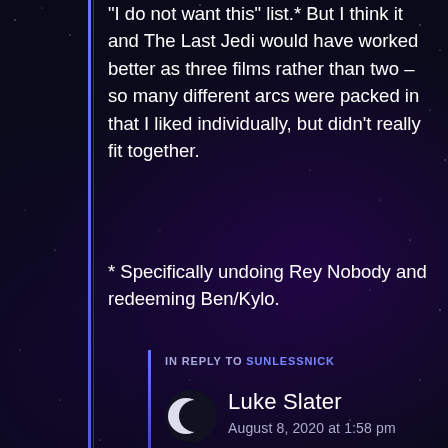“I do not want this” list.* But I think it and The Last Jedi would have worked better as three films rather than two – so many different arcs were packed in that I liked individually, but didn’t really fit together.
* Specifically undoing Rey Nobody and redeeming Ben/Kylo.
Reply
IN REPLY TO SUNLESSNICK
Luke Slater
August 8, 2020 at 1:58 pm